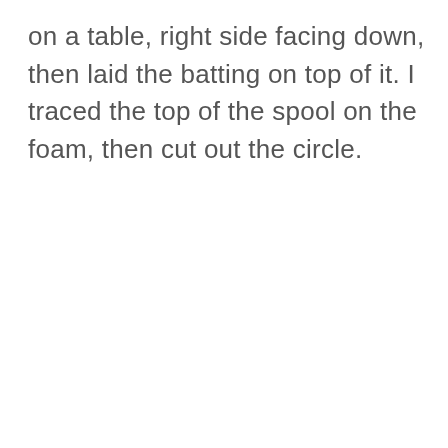on a table, right side facing down, then laid the batting on top of it. I traced the top of the spool on the foam, then cut out the circle.